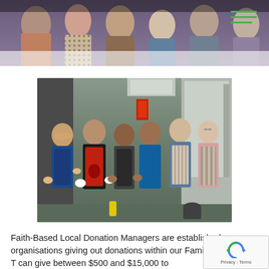[Figure (photo): Top of page showing a partial photo of people in colorful clothing, cropped at the top]
[Figure (photo): Six volunteers in aprons (blue, red, black, striped) giving thumbs up in a kitchen/warehouse setting]
Faith-Based Local Donation Managers are established organisations giving out donations within our Family focus area. They can give between $500 and $15,000 to